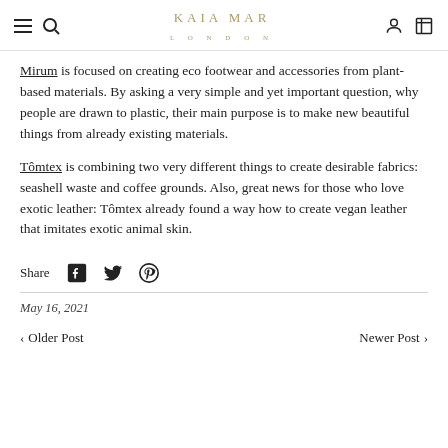KAIA MAR LONDON
Mirum is focused on creating eco footwear and accessories from plant-based materials. By asking a very simple and yet important question, why people are drawn to plastic, their main purpose is to make new beautiful things from already existing materials.
Tômtex is combining two very different things to create desirable fabrics: seashell waste and coffee grounds. Also, great news for those who love exotic leather: Tômtex already found a way how to create vegan leather that imitates exotic animal skin.
Share
May 16, 2021
< Older Post    Newer Post >